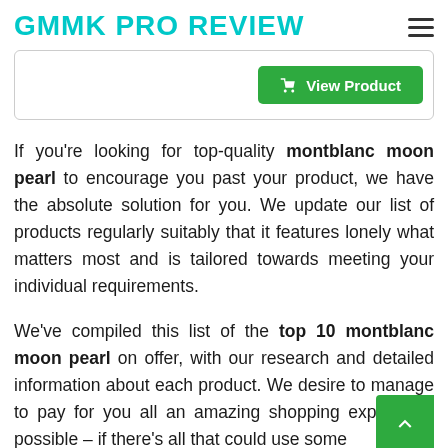GMMK PRO REVIEW
[Figure (screenshot): View Product button (green) inside a bordered product box]
If you're looking for top-quality montblanc moon pearl to encourage you past your product, we have the absolute solution for you. We update our list of products regularly suitably that it features lonely what matters most and is tailored towards meeting your individual requirements.
We've compiled this list of the top 10 montblanc moon pearl on offer, with our research and detailed information about each product. We desire to manage to pay for you all an amazing shopping experience possible – if there's all that could use some